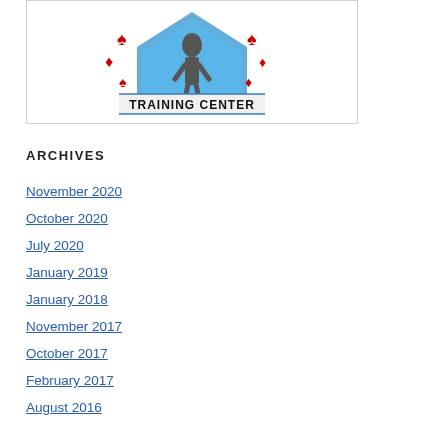[Figure (logo): Training Center logo with decorative elements and 'TRAINING CENTER' text]
ARCHIVES
November 2020
October 2020
July 2020
January 2019
January 2018
November 2017
October 2017
February 2017
August 2016